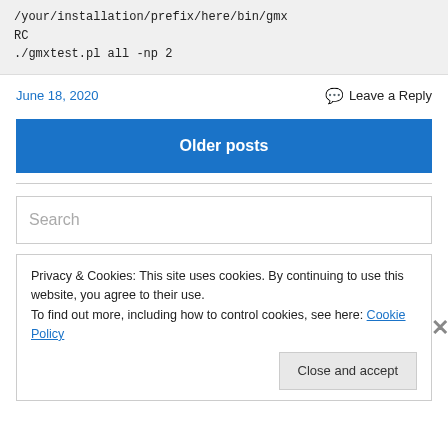/your/installation/prefix/here/bin/gmxRC
./gmxtest.pl all -np 2
June 18, 2020
Leave a Reply
Older posts
Search
Privacy & Cookies: This site uses cookies. By continuing to use this website, you agree to their use.
To find out more, including how to control cookies, see here: Cookie Policy
Close and accept